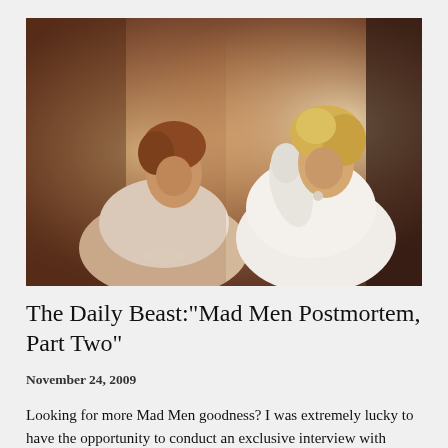[Figure (photo): Two women in 1960s period dress facing each other. The woman on the left has reddish-brown hair and wears a cream/white dress holding pearls. The woman on the right has blonde hair and wears a white dress with gloves, facing slightly to the left. Warm sepia-toned lighting, interior setting.]
The Daily Beast:"Mad Men Postmortem, Part Two"
November 24, 2009
Looking for more Mad Men goodness? I was extremely lucky to have the opportunity to conduct an exclusive interview with